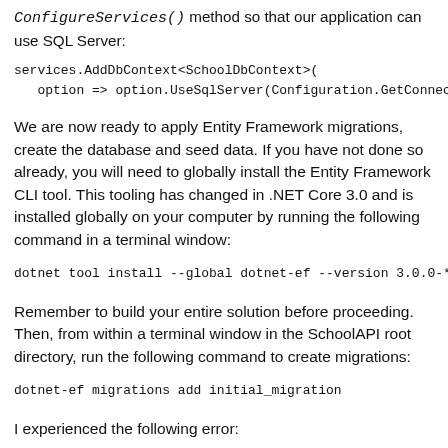ConfigureServices() method so that our application can use SQL Server:
services.AddDbContext<SchoolDbContext>(
    option => option.UseSqlServer(Configuration.GetConnecti
We are now ready to apply Entity Framework migrations, create the database and seed data. If you have not done so already, you will need to globally install the Entity Framework CLI tool. This tooling has changed in .NET Core 3.0 and is installed globally on your computer by running the following command in a terminal window:
dotnet tool install --global dotnet-ef --version 3.0.0-*
Remember to build your entire solution before proceeding. Then, from within a terminal window in the SchoolAPI root directory, run the following command to create migrations:
dotnet-ef migrations add initial_migration
I experienced the following error:
Unable to create an object of type 'SchoolDbContext'. For supported at design time, see https://go.microsoft.com/f